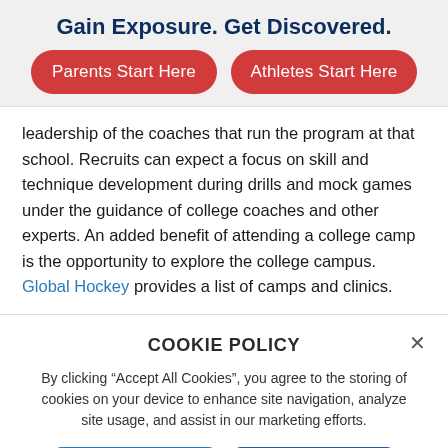Gain Exposure. Get Discovered.
Parents Start Here
Athletes Start Here
leadership of the coaches that run the program at that school. Recruits can expect a focus on skill and technique development during drills and mock games under the guidance of college coaches and other experts. An added benefit of attending a college camp is the opportunity to explore the college campus. Global Hockey provides a list of camps and clinics.
COOKIE POLICY
By clicking “Accept All Cookies”, you agree to the storing of cookies on your device to enhance site navigation, analyze site usage, and assist in our marketing efforts.
Cookies Settings
Accept All Cookies